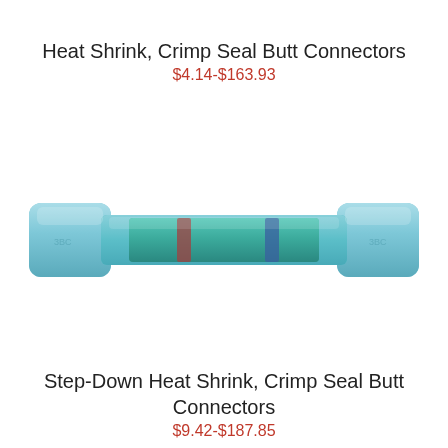Heat Shrink, Crimp Seal Butt Connectors
$4.14-$163.93
[Figure (photo): A blue heat shrink crimp seal butt connector shown horizontally. The connector has cylindrical ends with a narrower middle section. The center section shows a green/teal color with red and blue bands visible through the translucent blue heat shrink tubing.]
Step-Down Heat Shrink, Crimp Seal Butt Connectors
$9.42-$187.85